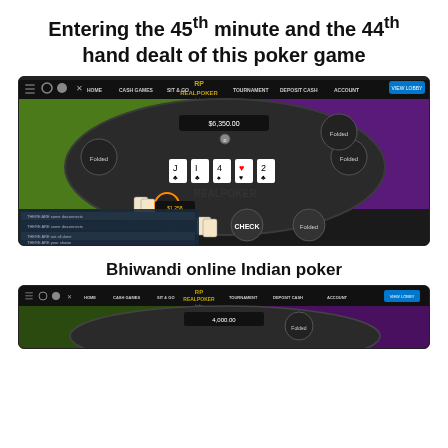Entering the 45th minute and the 44th hand dealt of this poker game
[Figure (screenshot): Screenshot of RealPoker online poker game showing a poker table with cards J, I, 4, and 2 on the table, players with Folded status, and action buttons including CHECK. Community cards visible on a dark oval table with colorful background.]
Bhiwandi online Indian poker
[Figure (screenshot): Partial screenshot of RealPoker online poker game showing the top portion of another poker table with navigation menu and table with 4,000.00 chip amount visible.]